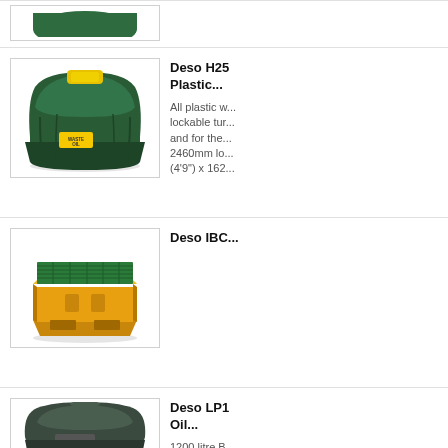[Figure (photo): Partial product row at top - green plastic tank, cropped]
[Figure (photo): Deso H25 Plastic waste oil tank - large green plastic bunded tank with yellow lid and Waste Oil label]
Deso H25 Plastic...
All plastic w... lockable tur... and for the... 2460mm lo... (4'9") x 162...
[Figure (photo): Deso IBC containment unit - yellow polyethylene spill pallet with green grate top]
Deso IBC...
[Figure (photo): Deso LP1 Oil tank - dark grey/green low-profile plastic bunded oil tank]
Deso LP1 Oil...
1200 litre B...